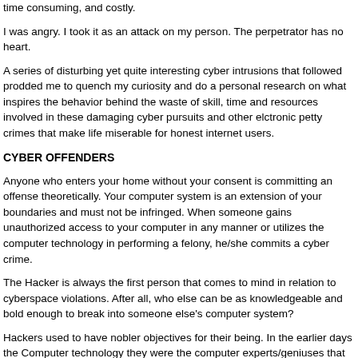time consuming, and costly.
I was angry. I took it as an attack on my person. The perpetrator has no heart.
A series of disturbing yet quite interesting cyber intrusions that followed prodded me to quench my curiosity and do a personal research on what inspires the behavior behind the waste of skill, time and resources involved in these damaging cyber pursuits and other elctronic petty crimes that make life miserable for honest internet users.
CYBER OFFENDERS
Anyone who enters your home without your consent is committing an offense theoretically. Your computer system is an extension of your boundaries and must not be infringed. When someone gains unauthorized access to your computer in any manner or utilizes the computer technology in performing a felony, he/she commits a cyber crime.
The Hacker is always the first person that comes to mind in relation to cyberspace violations. After all, who else can be as knowledgeable and bold enough to break into someone else's computer system?
Hackers used to have nobler objectives for their being. In the earlier days the Computer technology they were the computer experts/geniuses that...